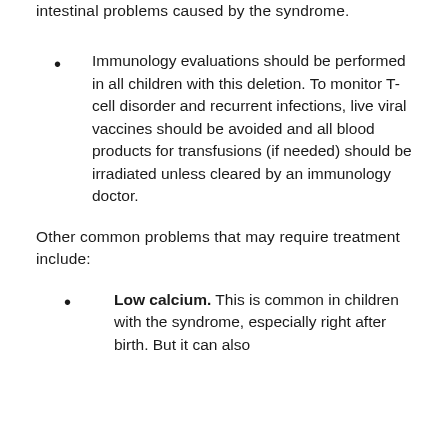intestinal problems caused by the syndrome.
Immunology evaluations should be performed in all children with this deletion. To monitor T-cell disorder and recurrent infections, live viral vaccines should be avoided and all blood products for transfusions (if needed) should be irradiated unless cleared by an immunology doctor.
Other common problems that may require treatment include:
Low calcium. This is common in children with the syndrome, especially right after birth. But it can also